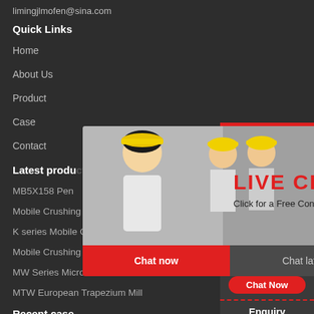limingjlmofen@sina.com
Quick Links
Home
About Us
Product
Case
Contact
Latest products
MB5X158 Pen...
Mobile Crushing Screening Plant
K series Mobile Cone Crusher
Mobile Crushing and Washing Pla
MW Series Micro Powder Mill
MTW European Trapezium Mill
Recent case
[Figure (screenshot): Live Chat popup overlay with workers in yellow hard hats, LIVE CHAT text in red, 'Click for a Free Consultation', Chat now and Chat later buttons]
[Figure (screenshot): Right sidebar widget showing 24Hrs Online label, customer service representative photo with headset, Need questions & suggestion text, Chat Now button, Enquiry section, limingjlmofen text]